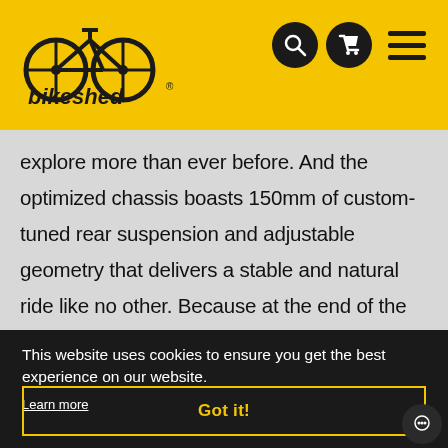bikeshed - header with logo and navigation icons
explore more than ever before. And the optimized chassis boasts 150mm of custom-tuned rear suspension and adjustable geometry that delivers a stable and natural ride like no other. Because at the end of the day it's the ride that matters. Believe it.
This website uses cookies to ensure you get the best experience on our website.
Learn more
Got it!